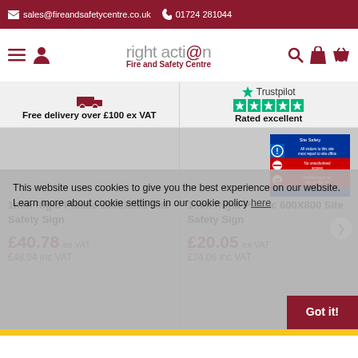sales@fireandsafetycentre.co.uk  01724 281044
[Figure (logo): right action Fire and Safety Centre logo with navigation icons]
Free delivery over £100 ex VAT
Rated excellent (Trustpilot)
[Figure (photo): 1mm Rigid Plastic 1000X800 Site Safety Sign product image]
1mm Rigid Plastic 1000X800 Site Safety Sign
£40.78 ex VAT £48.94 inc VAT
[Figure (photo): 1mm Rigid Plastic 600X800 Site Safety Sign product image]
1mm Rigid Plastic 600X800 Site Safety Sign
£20.05 ex VAT £24.06 inc VAT
This website uses cookies to give you the best experience on our website. Learn more about cookie settings in our cookie policy here
Got it!